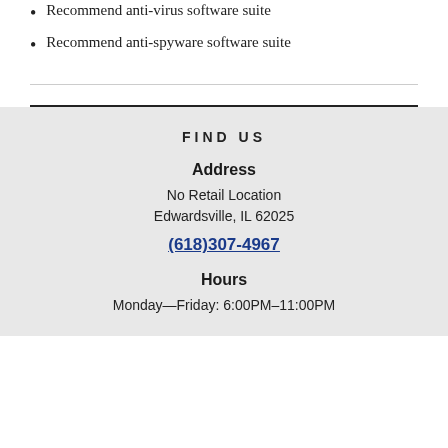Recommend anti-virus software suite
Recommend anti-spyware software suite
FIND US
Address
No Retail Location
Edwardsville, IL 62025
(618)307-4967
Hours
Monday—Friday: 6:00PM–11:00PM